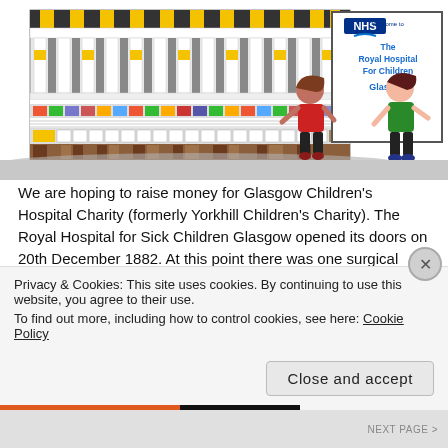[Figure (illustration): Cartoon illustration of the Royal Hospital for Sick Children Glasgow building on the left (colorful striped facade with yellow, black, white, red, green, multicolored tiles) and two cartoon children standing in front of an NHS sign reading 'Welcome to The Royal Hospital For Children Glasgow' on the right.]
We are hoping to raise money for Glasgow Children's Hospital Charity (formerly Yorkhill Children's Charity). The Royal Hospital for Sick Children Glasgow opened its doors on 20th December 1882. At this point there was one surgical ward and two medical wards with a total capacity of 58 beds, with an isolated infectious diseases
Privacy & Cookies: This site uses cookies. By continuing to use this website, you agree to their use.
To find out more, including how to control cookies, see here: Cookie Policy
Close and accept